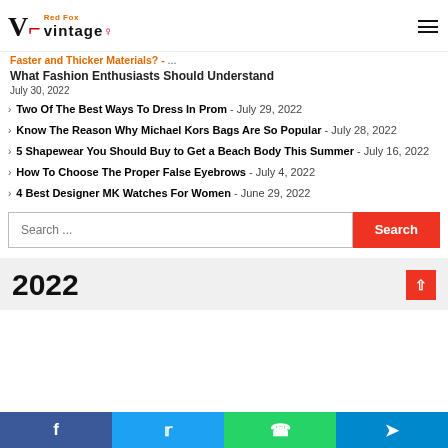Red Fox Vintage
Faster and Thicker Materials? - July 30, 2022
What Fashion Enthusiasts Should Understand
Two Of The Best Ways To Dress In Prom - July 29, 2022
Know The Reason Why Michael Kors Bags Are So Popular - July 28, 2022
5 Shapewear You Should Buy to Get a Beach Body This Summer - July 16, 2022
How To Choose The Proper False Eyebrows - July 4, 2022
4 Best Designer MK Watches For Women - June 29, 2022
Search ...
2022